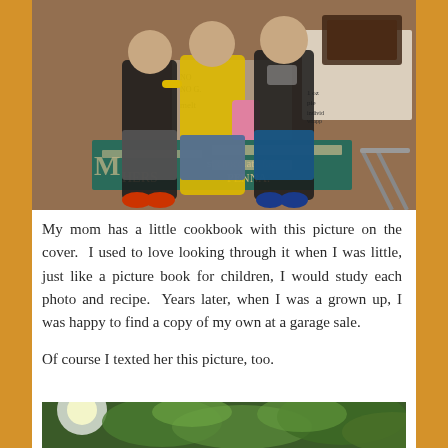[Figure (photo): A woman in a yellow shirt and two boys in black shirts standing in front of a Hershey's chocolate factory wall mural. The wall text includes 'chocolate fac...' and 'PENNA.']
My mom has a little cookbook with this picture on the cover.  I used to love looking through it when I was little, just like a picture book for children, I would study each photo and recipe.  Years later, when I was a grown up, I was happy to find a copy of my own at a garage sale.
Of course I texted her this picture, too.
[Figure (photo): Outdoor garden or nature scene with sunlight and green foliage/trees.]